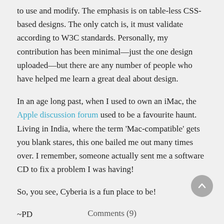to use and modify. The emphasis is on table-less CSS-based designs. The only catch is, it must validate according to W3C standards. Personally, my contribution has been minimal—just the one design uploaded—but there are any number of people who have helped me learn a great deal about design.
In an age long past, when I used to own an iMac, the Apple discussion forum used to be a favourite haunt. Living in India, where the term 'Mac-compatible' gets you blank stares, this one bailed me out many times over. I remember, someone actually sent me a software CD to fix a problem I was having!
So, you see, Cyberia is a fun place to be!
~PD
Comments (9)